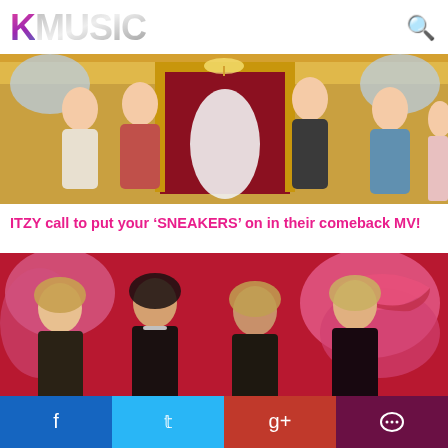KMUSIC
[Figure (photo): ITZY group photo in an ornate gold and red ballroom setting, members in colorful outfits]
ITZY call to put your ‘SNEAKERS’ on in their comeback MV!
[Figure (photo): aespa group photo in front of a red background with large pink floral/lips motif, four members in dark outfits]
aespa are ‘Girls’ that shouldn’t be messed with in their sci-fi comeback MV!
Social share bar: Facebook, Twitter, Google+, Comments